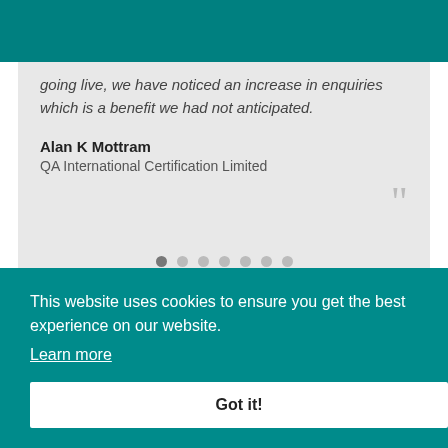R
going live, we have noticed an increase in enquiries which is a benefit we had not anticipated.
Alan K Mottram
QA International Certification Limited
This website uses cookies to ensure you get the best experience on our website. Learn more
Got it!